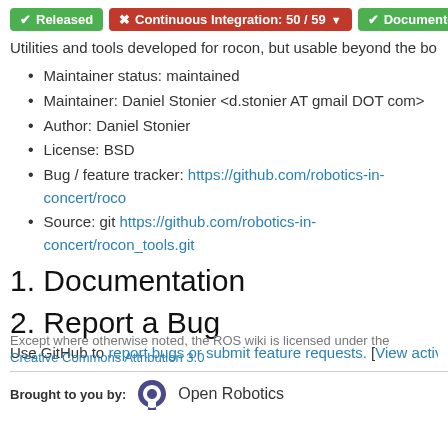[Figure (other): Three status badges: green 'Released', red 'Continuous Integration: 50 / 59' with dropdown arrow, green 'Documented']
Utilities and tools developed for rocon, but usable beyond the boundar…
Maintainer status: maintained
Maintainer: Daniel Stonier <d.stonier AT gmail DOT com>
Author: Daniel Stonier
License: BSD
Bug / feature tracker: https://github.com/robotics-in-concert/roco…
Source: git https://github.com/robotics-in-concert/rocon_tools.git…
1. Documentation
2. Report a Bug
Use GitHub to report bugs or submit feature requests. [View active issu…
Except where otherwise noted, the ROS wiki is licensed under the Creative Commons Attribution 3.0
Brought to you by: Open Robotics